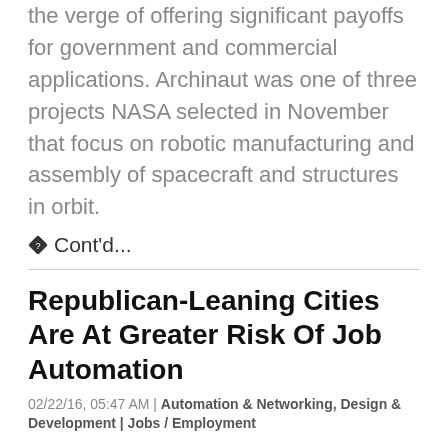the verge of offering significant payoffs for government and commercial applications. Archinaut was one of three projects NASA selected in November that focus on robotic manufacturing and assembly of spacecraft and structures in orbit.
◆ Cont'd...
Republican-Leaning Cities Are At Greater Risk Of Job Automation
02/22/16, 05:47 AM | Automation & Networking, Design & Development | Jobs / Employment
By Jed Kolko for Five Thirty Eight:  More and more work activities and even entire jobs are at risk of beingautomated by algorithms, computers and robots, raising concerns that more and more humans will be put out of work. The fear of automation is widespread — President Obama